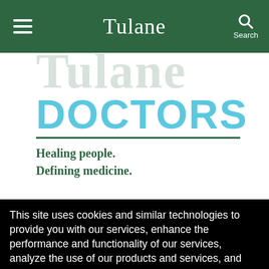Tulane
[Figure (logo): Tulane Doctors logo with partially visible 'Tulane' text in dark green (cropped at top), bold light-blue 'DOCTORS' text, a dark green horizontal rule, and italic tagline 'Healing people. Defining medicine.' in dark green]
This site uses cookies and similar technologies to provide you with our services, enhance the performance and functionality of our services, analyze the use of our products and services, and assist with our advertising and marketing efforts.